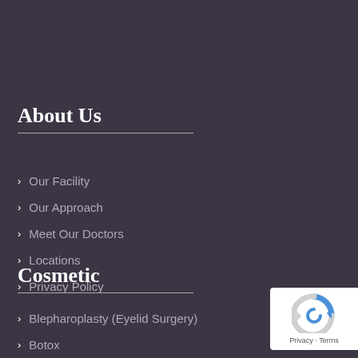About Us
Our Facility
Our Approach
Meet Our Doctors
Locations
Privacy Policy
Cosmetic
Blepharoplasty (Eyelid Surgery)
Botox
[Figure (logo): reCAPTCHA badge with Privacy and Terms text]